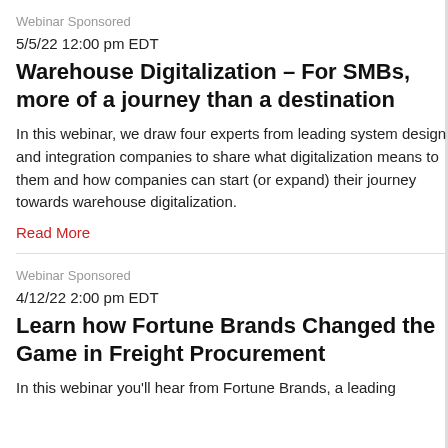Webinar Sponsored
5/5/22 12:00 pm EDT
Warehouse Digitalization – For SMBs, more of a journey than a destination
In this webinar, we draw four experts from leading system design and integration companies to share what digitalization means to them and how companies can start (or expand) their journey towards warehouse digitalization.
Read More
Webinar Sponsored
4/12/22 2:00 pm EDT
Learn how Fortune Brands Changed the Game in Freight Procurement
In this webinar you'll hear from Fortune Brands, a leading